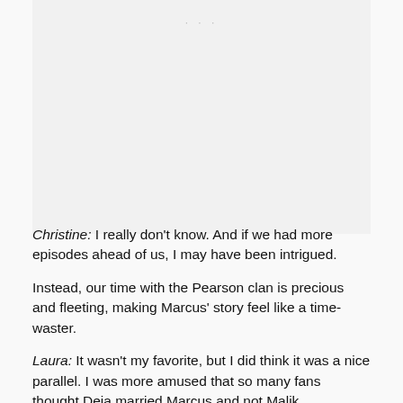[Figure (other): Image placeholder area with three dots at top center, mostly blank light gray background]
Christine: I really don't know. And if we had more episodes ahead of us, I may have been intrigued.
Instead, our time with the Pearson clan is precious and fleeting, making Marcus' story feel like a time-waster.
Laura: It wasn't my favorite, but I did think it was a nice parallel. I was more amused that so many fans thought Deja married Marcus and not Malik.
Jack: It did feel like a set-up for a story that there isn't